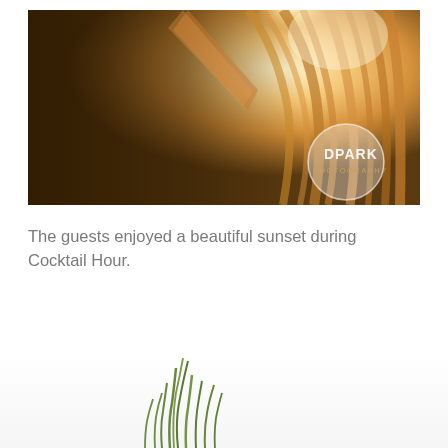[Figure (photo): A warm golden-toned photograph showing a person's braided hair backlit by a bright sunset light. A circular watermark reads 'DPARK PHOTOGRAPHY' in the lower right corner.]
The guests enjoyed a beautiful sunset during Cocktail Hour.
[Figure (photo): Bottom portion of a photograph showing green grass or plants against a white/light background, partially cropped at the bottom of the page.]